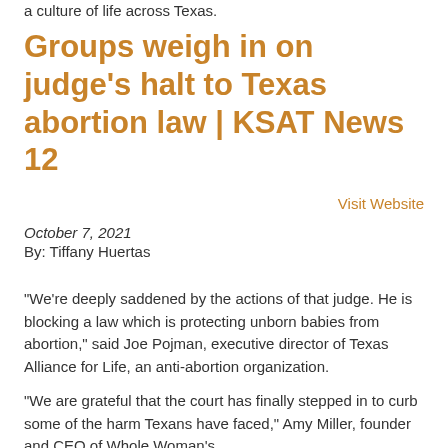a culture of life across Texas.
Groups weigh in on judge's halt to Texas abortion law | KSAT News 12
Visit Website
October 7, 2021
By: Tiffany Huertas
“We’re deeply saddened by the actions of that judge. He is blocking a law which is protecting unborn babies from abortion,” said Joe Pojman, executive director of Texas Alliance for Life, an anti-abortion organization.
“We are grateful that the court has finally stepped in to curb some of the harm Texans have faced,” Amy Miller, founder and CEO of Whole Woman’s